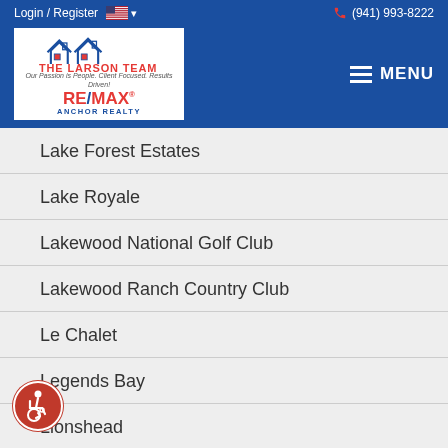Login / Register | (941) 993-8222 | The Larson Team RE/MAX Anchor Realty | MENU
Lake Forest Estates
Lake Royale
Lakewood National Golf Club
Lakewood Ranch Country Club
Le Chalet
Legends Bay
Lionshead
...p Of Northwest Bradenton
Lorraine Lakes